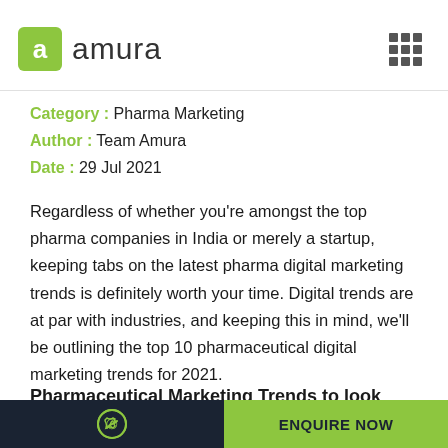[Figure (logo): Amura logo with green square icon containing letter 'a' and text 'amura', with a 3x3 grid icon on the right]
Category : Pharma Marketing
Author : Team Amura
Date : 29 Jul 2021
Regardless of whether you're amongst the top pharma companies in India or merely a startup, keeping tabs on the latest pharma digital marketing trends is definitely worth your time. Digital trends are at par with industries, and keeping this in mind, we'll be outlining the top 10 pharmaceutical digital marketing trends for 2021.
Pharmaceutical Marketing Trends to look
ENQUIRE NOW